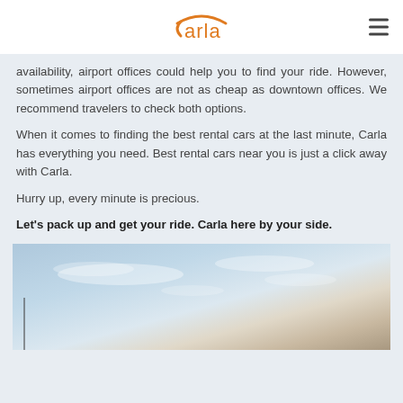Carla
availability, airport offices could help you to find your ride. However, sometimes airport offices are not as cheap as downtown offices. We recommend travelers to check both options.
When it comes to finding the best rental cars at the last minute, Carla has everything you need. Best rental cars near you is just a click away with Carla.
Hurry up, every minute is precious.
Let's pack up and get your ride. Carla here by your side.
[Figure (photo): Sky with clouds, slightly warm-toned sunset or daytime sky with wispy clouds]